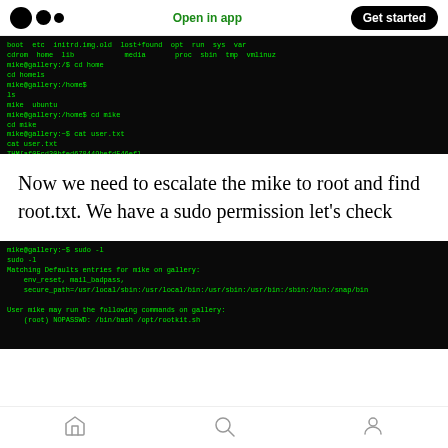Medium logo | Open in app | Get started
[Figure (screenshot): Terminal screenshot showing Linux directory listing and file read commands: boot etc initrd.img.old lost+found opt run sys var / cdrom home lib media proc sbin tmp vmlinuz / mike@gallery:/$ cd home / cd home ls / mike@gallery:/home$ ls / mike ubuntu / mike@gallery:/home$ cd mike / cd mike / mike@gallery:~$ cat user.txt / cat user.txt / THM{af05cd30bfed678449befd546ef}]
Now we need to escalate the mike to root and find root.txt. We have a sudo permission let’s check
[Figure (screenshot): Terminal screenshot showing sudo -l command output: mike@gallery:~$ sudo -l / sudo -l / Matching Defaults entries for mike on gallery: / env_reset, mail_badpass, / secure_path=/usr/local/sbin:/usr/local/bin:/usr/sbin:/usr/bin:/sbin:/bin:/snap/bin / User mike may run the following commands on gallery: / (root) NOPASSWD: /bin/bash /opt/rootkit.sh]
Home | Search | Profile